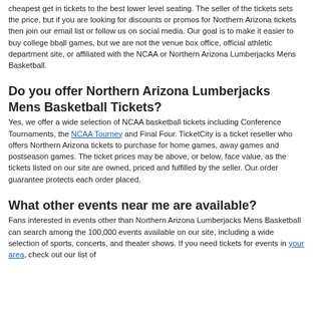cheapest get in tickets to the best lower level seating. The seller of the tickets sets the price, but if you are looking for discounts or promos for Northern Arizona tickets then join our email list or follow us on social media. Our goal is to make it easier to buy college bball games, but we are not the venue box office, official athletic department site, or affiliated with the NCAA or Northern Arizona Lumberjacks Mens Basketball.
Do you offer Northern Arizona Lumberjacks Mens Basketball Tickets?
Yes, we offer a wide selection of NCAA basketball tickets including Conference Tournaments, the NCAA Tourney and Final Four. TicketCity is a ticket reseller who offers Northern Arizona tickets to purchase for home games, away games and postseason games. The ticket prices may be above, or below, face value, as the tickets listed on our site are owned, priced and fulfilled by the seller. Our order guarantee protects each order placed.
What other events near me are available?
Fans interested in events other than Northern Arizona Lumberjacks Mens Basketball can search among the 100,000 events available on our site, including a wide selection of sports, concerts, and theater shows. If you need tickets for events in your area, check out our list of